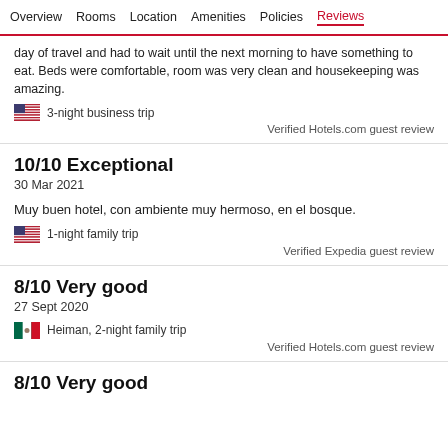Overview  Rooms  Location  Amenities  Policies  Reviews
day of travel and had to wait until the next morning to have something to eat. Beds were comfortable, room was very clean and housekeeping was amazing.
🇺🇸 3-night business trip
Verified Hotels.com guest review
10/10 Exceptional
30 Mar 2021
Muy buen hotel, con ambiente muy hermoso, en el bosque.
🇺🇸 1-night family trip
Verified Expedia guest review
8/10 Very good
27 Sept 2020
🇲🇽 Heiman, 2-night family trip
Verified Hotels.com guest review
8/10 Very good